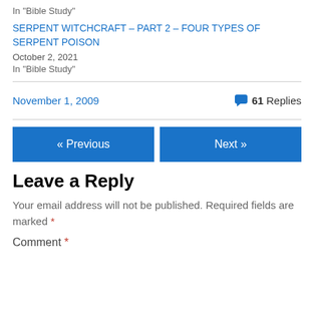In "Bible Study"
SERPENT WITCHCRAFT – PART 2 – FOUR TYPES OF SERPENT POISON
October 2, 2021
In "Bible Study"
November 1, 2009   💬 61 Replies
« Previous
Next »
Leave a Reply
Your email address will not be published. Required fields are marked *
Comment *